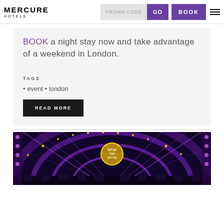MERCURE HOTELS — navigation bar with PROMO CODE, GO, BOOK buttons and menu icon
BOOK a night stay now and take advantage of a weekend in London.
TAGS
event • london
READ MORE
[Figure (photo): Strictly Come Dancing TV show stage with bright purple and gold lighting, dancers on stage and a large glittering disco ball logo]